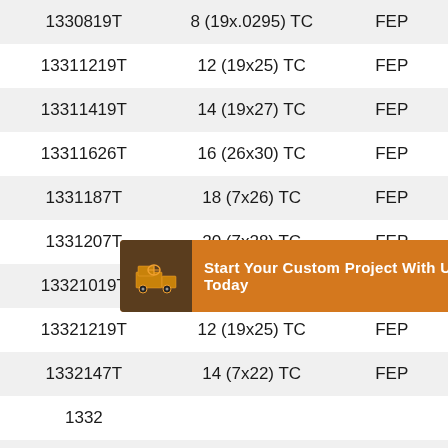| 1330819T | 8 (19x.0295) TC | FEP |
| 13311219T | 12 (19x25) TC | FEP |
| 13311419T | 14 (19x27) TC | FEP |
| 13311626T | 16 (26x30) TC | FEP |
| 1331187T | 18 (7x26) TC | FEP |
| 1331207T | 20 (7x28) TC | FEP |
| 13321019T | 10 (19x23) TC | FEP |
| 13321219T | 12 (19x25) TC | FEP |
| 1332147T | 14 (7x22) TC | FEP |
| 1332... | ... | ... |
| 1332187T | 18 (7x26) TC | FEP |
[Figure (infographic): Orange popup advertisement banner reading 'Start Your Custom Project With Us Today' with a dark brown icon on the left showing a truck/mixer and a close button (X) in top-right corner]